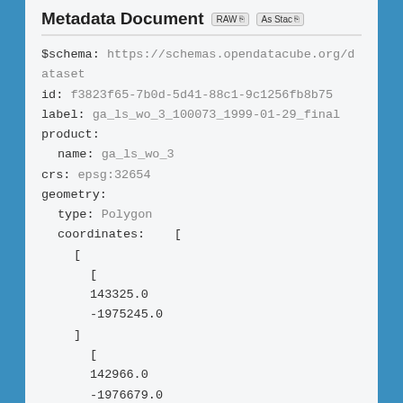Metadata Document
$schema: https://schemas.opendatacube.org/dataset
id: f3823f65-7b0d-5d41-88c1-9c1256fb8b75
label: ga_ls_wo_3_100073_1999-01-29_final
product:
  name: ga_ls_wo_3
crs: epsg:32654
geometry:
  type: Polygon
  coordinates:  [
      [
        [
        143325.0
        -1975245.0
      ]
        [
        142966.0
        -1976679.0